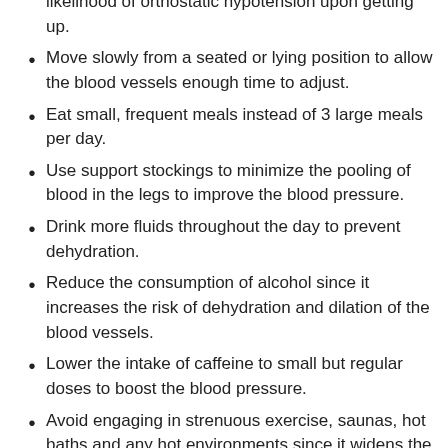Raise the head using pillows while in bed to reduce the likelihood of orthostatic hypotension upon getting up.
Move slowly from a seated or lying position to allow the blood vessels enough time to adjust.
Eat small, frequent meals instead of 3 large meals per day.
Use support stockings to minimize the pooling of blood in the legs to improve the blood pressure.
Drink more fluids throughout the day to prevent dehydration.
Reduce the consumption of alcohol since it increases the risk of dehydration and dilation of the blood vessels.
Lower the intake of caffeine to small but regular doses to boost the blood pressure.
Avoid engaging in strenuous exercise, saunas, hot baths and any hot environments since it widens the blood vessels.
Avoid ascending quickly to high altitudes.